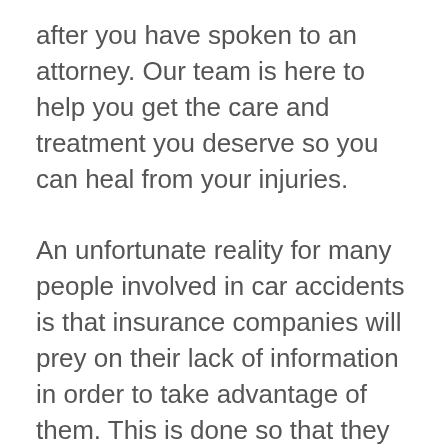after you have spoken to an attorney. Our team is here to help you get the care and treatment you deserve so you can heal from your injuries.
An unfortunate reality for many people involved in car accidents is that insurance companies will prey on their lack of information in order to take advantage of them. This is done so that they can minimize the injuries that are suffered, so they can get away with paying less money to those who have been hurt. This is why speaking with your attorney before an insurance company can make a huge difference in the compensation you receive. Your attorney can help you gather your thoughts and get a clear concise account of events to share with the insurance companies without revealing too much information about yourself, prior injuries, and more